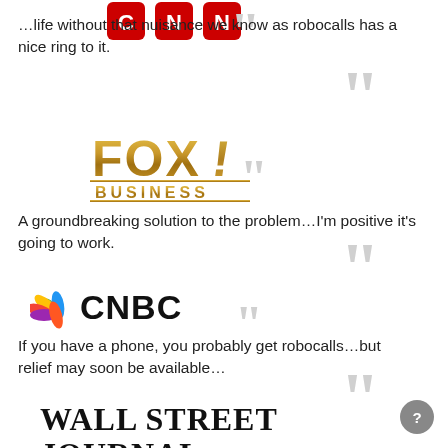[Figure (logo): CNN logo (partial, top of page)]
…life without that nuisance we know as robocalls has a nice ring to it.
[Figure (logo): Fox Business logo]
A groundbreaking solution to the problem…I'm positive it's going to work.
[Figure (logo): CNBC logo with peacock]
If you have a phone, you probably get robocalls…but relief may soon be available…
[Figure (logo): Wall Street Journal logo (partial)]